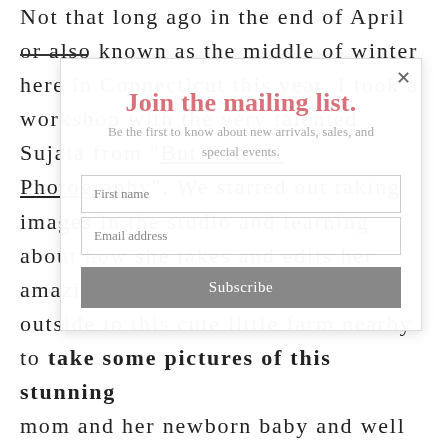Not that long ago in the end of April or also known as the middle of winter here in Connecticut this year, I took a workshop with the very talented Sujata from “But Natural Photography”. We started out taking images in the studio and learning about how she takes and edits her amazing images and then we went outside to this cute little farm nearby to take some pictures of this stunning mom and her newborn baby and well
[Figure (infographic): A mailing list signup modal overlay on top of a blog article. The modal contains the title 'Join the mailing list.', subtitle 'Be the first to know about new arrivals, sales, and special events.', a first name input field, an email address input field, and a grey Subscribe button. A close (x) button is in the top right corner.]